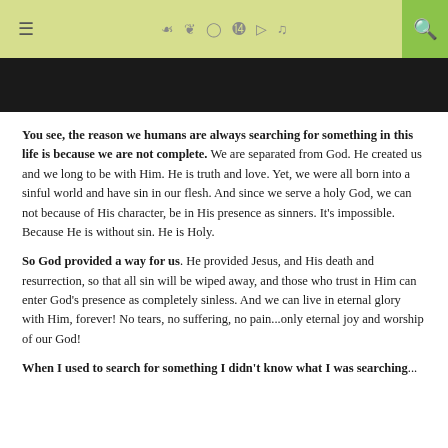≡  f  t  instagram  pinterest  youtube  soundcloud  🔍
[Figure (photo): Dark banner image at top of article page]
You see, the reason we humans are always searching for something in this life is because we are not complete. We are separated from God. He created us and we long to be with Him. He is truth and love. Yet, we were all born into a sinful world and have sin in our flesh. And since we serve a holy God, we can not because of His character, be in His presence as sinners. It's impossible. Because He is without sin. He is Holy.
So God provided a way for us. He provided Jesus, and His death and resurrection, so that all sin will be wiped away, and those who trust in Him can enter God's presence as completely sinless. And we can live in eternal glory with Him, forever! No tears, no suffering, no pain...only eternal joy and worship of our God!
When I used to search for something I didn't know what I was searching...